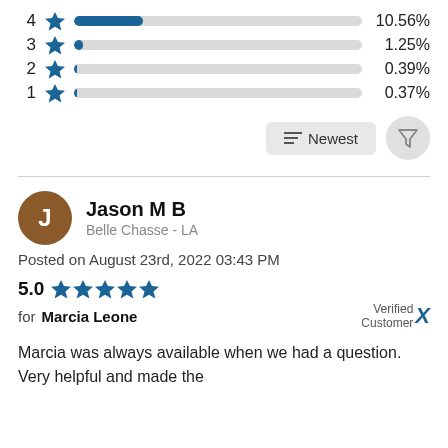[Figure (infographic): Star rating row: 4 stars, bar chart showing 10.56%]
[Figure (infographic): Star rating row: 3 stars, bar chart showing 1.25%]
[Figure (infographic): Star rating row: 2 stars, bar chart showing 0.39%]
[Figure (infographic): Star rating row: 1 star, bar chart showing 0.37%]
[Figure (infographic): Sort button showing Newest and filter icon]
Jason M B
Belle Chasse - LA
Posted on August 23rd, 2022 03:43 PM
5.0 ★★★★★ for Marcia Leone — Verified Customer
Marcia was always available when we had a question. Very helpful and made the